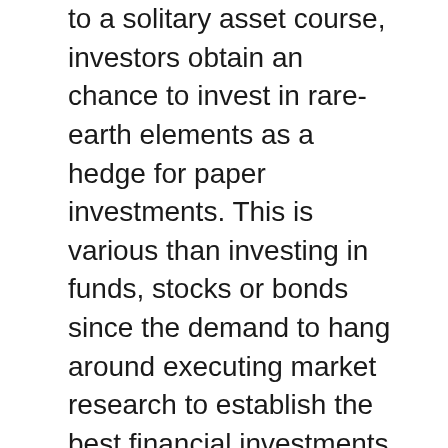to a solitary asset course, investors obtain an chance to invest in rare-earth elements as a hedge for paper investments. This is various than investing in funds, stocks or bonds since the demand to hang around executing market research to establish the best financial investments for a rare-earth elements IRA has actually been gotten rid of. The client merely chooses from a directory containing silver and gold bullion to money their account.
The feature of a Valuable Metals IRA works the same way as a Roth or Traditional IRA. Customers saving for retired life obtain an investment chance with a tax obligation benefit. A Goldco Gold IRA is a retirement account allowing customers to make an